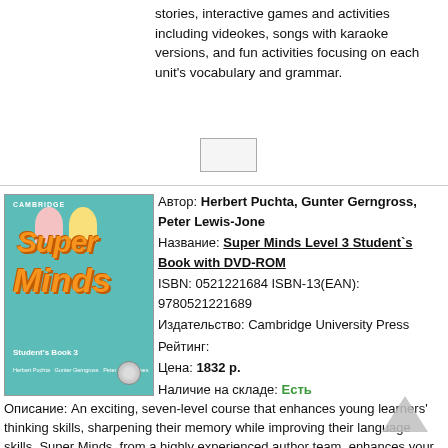stories, interactive games and activities including videokes, songs with karaoke versions, and fun activities focusing on each unit's vocabulary and grammar.
[Figure (other): Small placeholder/button box]
[Figure (illustration): Super Minds Level 3 Student's Book cover with DVD-ROM, teal background, orange logo, two child characters]
Автор: Herbert Puchta, Gunter Gerngross, Peter Lewis-Jone
Название: Super Minds Level 3 Student`s Book with DVD-ROM
ISBN: 0521221684 ISBN-13(EAN): 9780521221689
Издательство: Cambridge University Press
Рейтинг:
Цена: 1832 р.
Наличие на складе: Есть
Описание: An exciting, seven-level course that enhances young learners' thinking skills, sharpening their memory while improving their language skills. Super Minds, from a highly experienced author team, enhances your students' thinking skills, improving their memory along with their language skills. This Level 3 Student's Book includes activities to develop language creatively, cross-curriculum thinking with fascinating 'English for school' sections and lively stories that